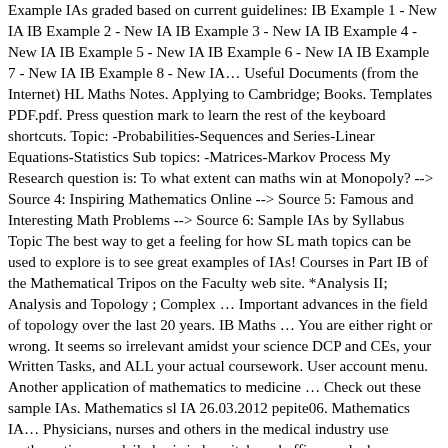Example IAs graded based on current guidelines: IB Example 1 - New IA IB Example 2 - New IA IB Example 3 - New IA IB Example 4 - New IA IB Example 5 - New IA IB Example 6 - New IA IB Example 7 - New IA IB Example 8 - New IA… Useful Documents (from the Internet) HL Maths Notes. Applying to Cambridge; Books. Templates PDF.pdf. Press question mark to learn the rest of the keyboard shortcuts. Topic: -Probabilities-Sequences and Series-Linear Equations-Statistics Sub topics: -Matrices-Markov Process My Research question is: To what extent can maths win at Monopoly? --> Source 4: Inspiring Mathematics Online --> Source 5: Famous and Interesting Math Problems --> Source 6: Sample IAs by Syllabus Topic The best way to get a feeling for how SL math topics can be used to explore is to see great examples of IAs! Courses in Part IB of the Mathematical Tripos on the Faculty web site. *Analysis II; Analysis and Topology ; Complex … Important advances in the field of topology over the last 20 years. IB Maths … You are either right or wrong. It seems so irrelevant amidst your science DCP and CEs, your Written Tasks, and ALL your actual coursework. User account menu. Another application of mathematics to medicine … Check out these sample IAs. Mathematics sl IA 26.03.2012 pepite06. Mathematics IA… Physicians, nurses and others in the medical industry use mathematics on a daily basis in hospitals and offices and when performing research. The more you practice, the more you can avoid the latter. You've always been used to writing